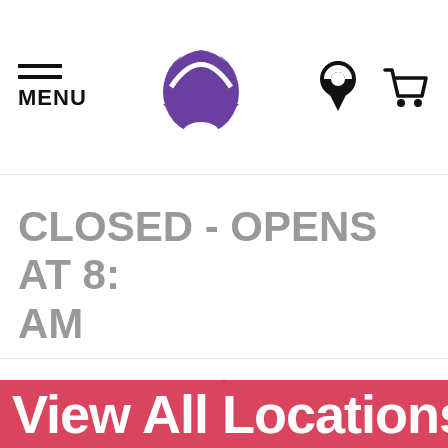[Figure (logo): Taco Bell website navigation bar with hamburger menu icon labeled MENU, Taco Bell bell logo in purple, location pin icon, and shopping cart icon]
CLOSED - OPENS AT 8: AM
Directions
View Pag
View All Locations